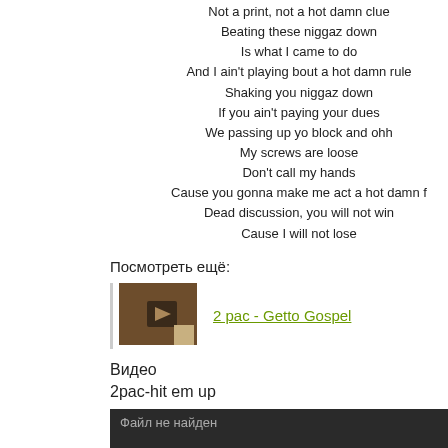Not a print, not a hot damn clue
Beating these niggaz down
Is what I came to do
And I ain't playing bout a hot damn rule
Shaking you niggaz down
If you ain't paying your dues
We passing up yo block and ohh
My screws are loose
Don't call my hands
Cause you gonna make me act a hot damn f
Dead discussion, you will not win
Cause I will not lose
Посмотреть ещё:
[Figure (photo): Thumbnail image for 2pac - Getto Gospel]
2 pac - Getto Gospel
Видео
2pac-hit em up
[Figure (screenshot): Dark video player area with text 'Файл не найден']